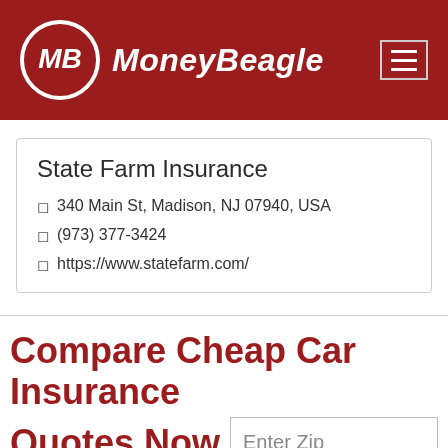MoneyBeagle
State Farm Insurance
340 Main St, Madison, NJ 07940, USA
(973) 377-3424
https://www.statefarm.com/
Compare Cheap Car Insurance Quotes Now
Enter Zip
Get Rates >